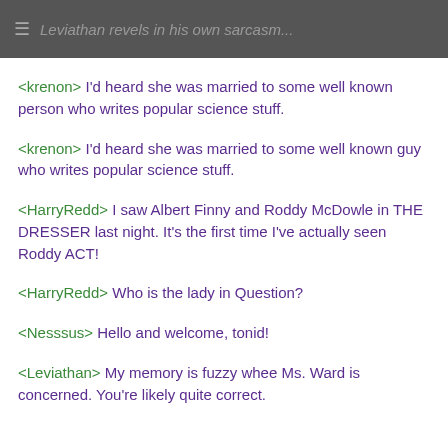≡ Leviathan revels in his own sarcasm...
<krenon> I'd heard she was married to some well known person who writes popular science stuff.
<krenon> I'd heard she was married to some well known guy who writes popular science stuff.
<HarryRedd> I saw Albert Finny and Roddy McDowle in THE DRESSER last night. It's the first time I've actually seen Roddy ACT!
<HarryRedd> Who is the lady in Question?
<Nesssus> Hello and welcome, tonid!
<Leviathan> My memory is fuzzy whee Ms. Ward is concerned. You're likely quite correct.